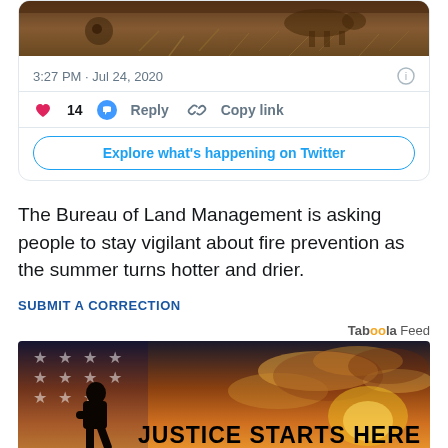[Figure (screenshot): Twitter card showing tweet image (landscape outdoor scene), timestamp 3:27 PM Jul 24, 2020, action buttons (heart 14, Reply, Copy link), and Explore button]
The Bureau of Land Management is asking people to stay vigilant about fire prevention as the summer turns hotter and drier.
SUBMIT A CORRECTION
Taboola Feed
[Figure (photo): Advertisement image showing silhouette of person against dramatic sunset sky with American flag overlay and text JUSTICE STARTS HERE]